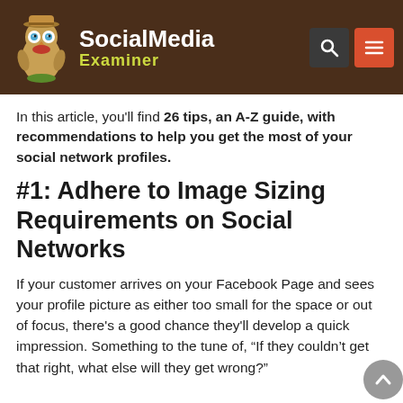Social Media Examiner
In this article, you'll find 26 tips, an A-Z guide, with recommendations to help you get the most of your social network profiles.
#1: Adhere to Image Sizing Requirements on Social Networks
If your customer arrives on your Facebook Page and sees your profile picture as either too small for the space or out of focus, there's a good chance they'll develop a quick impression. Something to the tune of, “If they couldn’t get that right, what else will they get wrong?”